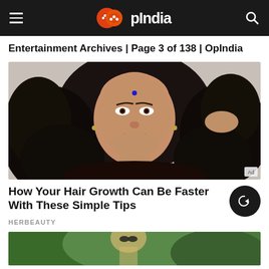OpIndia
Entertainment Archives | Page 3 of 138 | OpIndia
[Figure (photo): Portrait photo of a young South Asian woman with long curly dark hair, wearing a bindi, looking directly at camera. 'Ad' badge in bottom-right corner.]
How Your Hair Growth Can Be Faster With These Simple Tips
HERBEAUTY
[Figure (photo): Partial photo at bottom of page showing a blonde person outdoors with green background, cropped.]